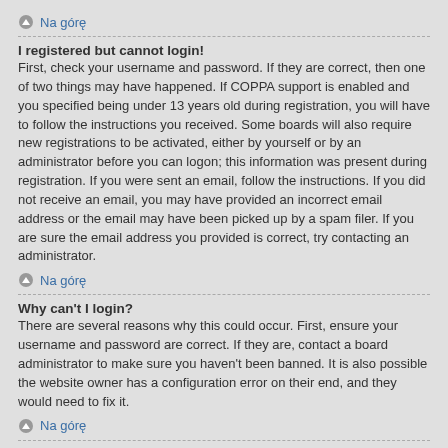Na górę
I registered but cannot login!
First, check your username and password. If they are correct, then one of two things may have happened. If COPPA support is enabled and you specified being under 13 years old during registration, you will have to follow the instructions you received. Some boards will also require new registrations to be activated, either by yourself or by an administrator before you can logon; this information was present during registration. If you were sent an email, follow the instructions. If you did not receive an email, you may have provided an incorrect email address or the email may have been picked up by a spam filer. If you are sure the email address you provided is correct, try contacting an administrator.
Na górę
Why can't I login?
There are several reasons why this could occur. First, ensure your username and password are correct. If they are, contact a board administrator to make sure you haven't been banned. It is also possible the website owner has a configuration error on their end, and they would need to fix it.
Na górę
I registered in the past but cannot login any more?!
It is possible an administrator has deactivated or deleted your account for some